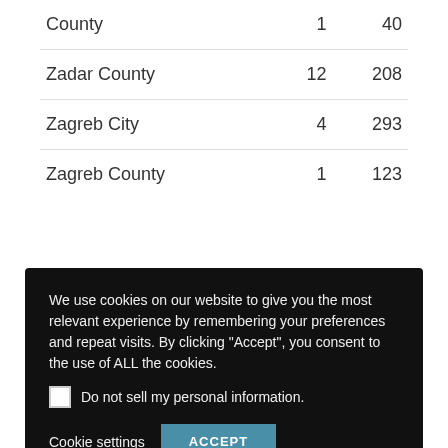| County | 1 | 40 |
| Zadar County | 12 | 208 |
| Zagreb City | 4 | 293 |
| Zagreb County | 1 | 123 |
We use cookies on our website to give you the most relevant experience by remembering your preferences and repeat visits. By clicking "Accept", you consent to the use of ALL the cookies.

☐ Do not sell my personal information.

Cookie settings   ACCEPT
Links to the county websites or local media for COVID-19 daily reports. All county links automatically open in a Google translation to English.
Translate »